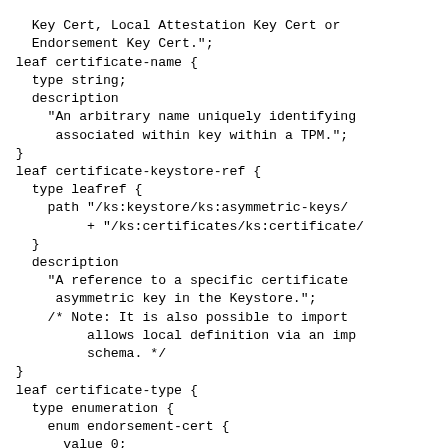Key Cert, Local Attestation Key Cert or Endorsement Key Cert.";
    leaf certificate-name {
      type string;
      description
        "An arbitrary name uniquely identifying associated within key within a TPM.";
    }
    leaf certificate-keystore-ref {
      type leafref {
        path "/ks:keystore/ks:asymmetric-keys/
             + "/ks:certificates/ks:certificate/
      }
      description
        "A reference to a specific certificate asymmetric key in the Keystore.";
        /* Note: It is also possible to import allows local definition via an imported schema. */
    }
    leaf certificate-type {
      type enumeration {
        enum endorsement-cert {
          value 0;
          description
            "Endorsement Key (EK) Certificate
        }
        enum initial-attestation-cert {
          value 1;
          description
            "Initial Attestation (TPM...